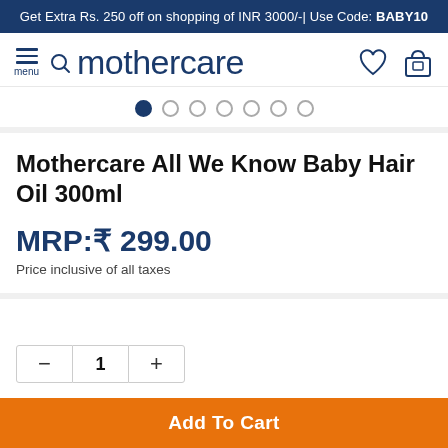Get Extra Rs. 250 off on shopping of INR 3000/-| Use Code: BABY10
[Figure (logo): Mothercare navigation bar with hamburger menu, search icon, mothercare logo, heart icon, and basket icon]
[Figure (infographic): Carousel dots indicator: 1 filled dark blue dot followed by 6 empty circle dots]
Mothercare All We Know Baby Hair Oil 300ml
MRP:₹ 299.00
Price inclusive of all taxes
[Figure (infographic): Quantity selector with minus button, value 1, and plus button]
Add To Cart